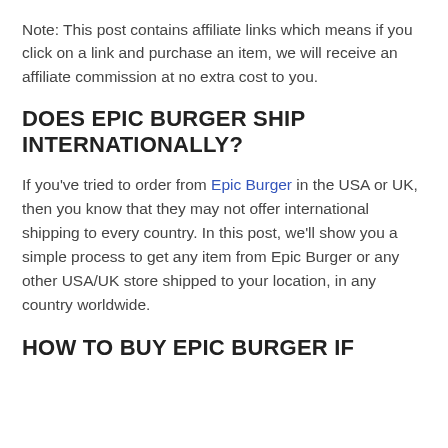Note: This post contains affiliate links which means if you click on a link and purchase an item, we will receive an affiliate commission at no extra cost to you.
DOES EPIC BURGER SHIP INTERNATIONALLY?
If you've tried to order from Epic Burger in the USA or UK, then you know that they may not offer international shipping to every country. In this post, we'll show you a simple process to get any item from Epic Burger or any other USA/UK store shipped to your location, in any country worldwide.
HOW TO BUY EPIC BURGER IF